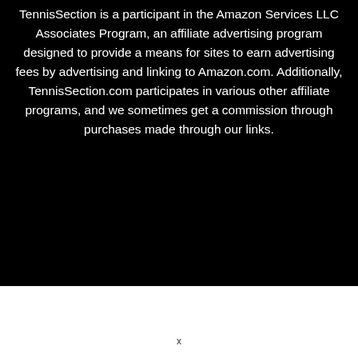TennisSection is a participant in the Amazon Services LLC Associates Program, an affiliate advertising program designed to provide a means for sites to earn advertising fees by advertising and linking to Amazon.com. Additionally, TennisSection.com participates in various other affiliate programs, and we sometimes get a commission through purchases made through our links.
x